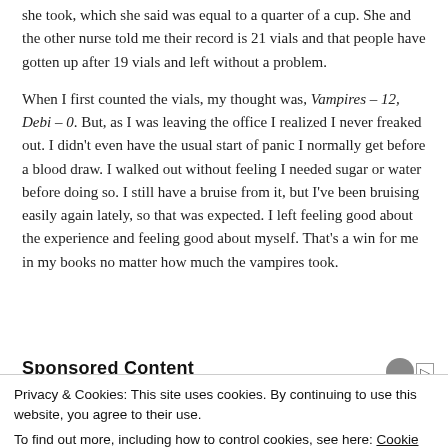she took, which she said was equal to a quarter of a cup.  She and the other nurse told me their record is 21 vials and that people have gotten up after 19 vials and left without a problem.
When I first counted the vials, my thought was, Vampires – 12, Debi – 0.  But, as I was leaving the office I realized I never freaked out.  I didn't even have the usual start of panic I normally get before a blood draw.  I walked out without feeling I needed sugar or water before doing so.  I still have a bruise from it, but I've been bruising easily again lately, so that was expected.  I left feeling good about the experience and feeling good about myself.  That's a win for me in my books no matter how much the vampires took.
Sponsored Content
Privacy & Cookies: This site uses cookies. By continuing to use this website, you agree to their use.
To find out more, including how to control cookies, see here: Cookie Policy
Close and accept